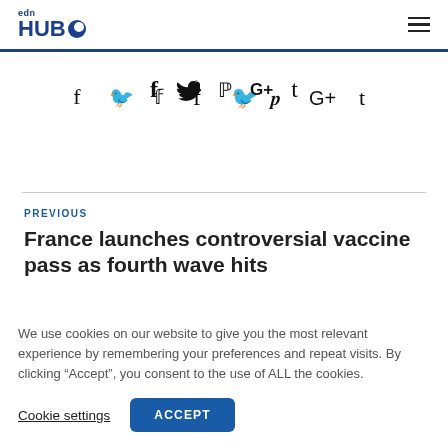edn HUB
[Figure (infographic): Social sharing icons: Facebook, Twitter, Pinterest, Google+, Tumblr]
PREVIOUS
France launches controversial vaccine pass as fourth wave hits
We use cookies on our website to give you the most relevant experience by remembering your preferences and repeat visits. By clicking “Accept”, you consent to the use of ALL the cookies.
Cookie settings  ACCEPT